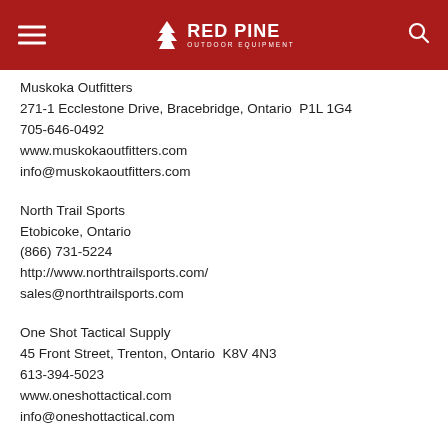[Figure (logo): Red Pine Outdoor Equipment logo — white pine tree icon with RED PINE text and OUTDOOR EQUIPMENT subtitle on dark red navigation bar]
Muskoka Outfitters
271-1 Ecclestone Drive, Bracebridge, Ontario  P1L 1G4
705-646-0492
www.muskokaoutfitters.com
info@muskokaoutfitters.com
North Trail Sports
Etobicoke, Ontario
(866) 731-5224
http://www.northtrailsports.com/
sales@northtrailsports.com
One Shot Tactical Supply
45 Front Street, Trenton, Ontario  K8V 4N3
613-394-5023
www.oneshottactical.com
info@oneshottactical.com